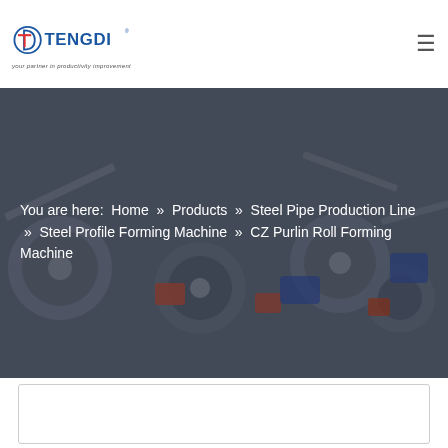TENGDI — your partner in productivity improvement
[Figure (photo): Industrial machinery background photo showing metal roll-forming machine components with rotating discs and mechanical parts, used as a hero banner image behind breadcrumb navigation text.]
You are here:  Home  »  Products  »  Steel Pipe Production Line  »  Steel Profile Forming Machine  »  CZ Purlin Roll Forming Machine